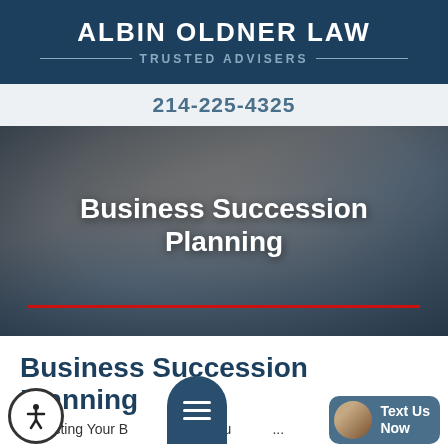ALBIN OLDNER LAW — TRUSTED ADVISERS
214-225-4325
[Figure (photo): Hero banner with blurred background photo of two people shaking hands over a desk with documents, with a dark overlay. Large white bold text reads 'Business Succession Planning' centered on the image, with a red horizontal line below the text.]
Business Succession Planning
Protecting Your Business's Future with...